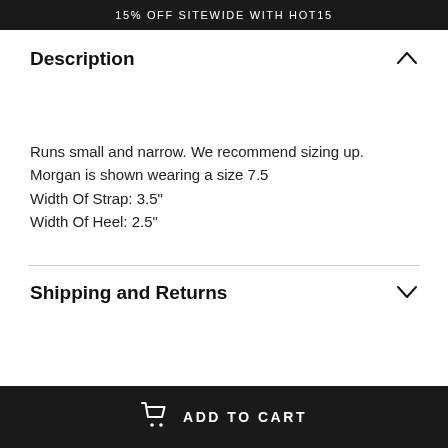15% OFF SITEWIDE WITH HOT15
Description
Runs small and narrow. We recommend sizing up.
Morgan is shown wearing a size 7.5
Width Of Strap: 3.5"
Width Of Heel: 2.5"
Shipping and Returns
ADD TO CART